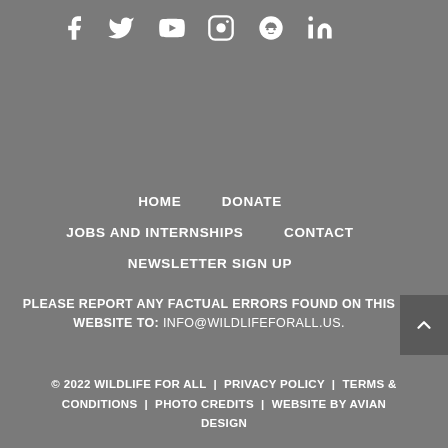[Figure (infographic): Social media icons: Facebook, Twitter, YouTube, Instagram, Reddit, LinkedIn — displayed as white icons on grey background]
HOME   DONATE   JOBS AND INTERNSHIPS   CONTACT   NEWSLETTER SIGN UP
PLEASE REPORT ANY FACTUAL ERRORS FOUND ON THIS WEBSITE TO: INFO@WILDLIFEFORALL.US.
© 2022 WILDLIFE FOR ALL  |  PRIVACY POLICY  |  TERMS & CONDITIONS  |  PHOTO CREDITS  |  WEBSITE BY AVIAN DESIGN